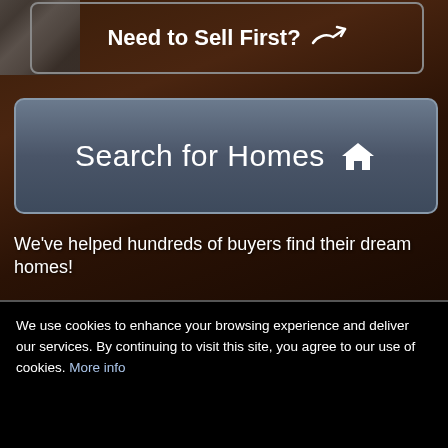[Figure (screenshot): Website screenshot showing a real estate page with dark brown background. Top section has a 'Need to Sell First?' button with hand icon, a 'Search for Homes' button with house icon in gray/blue, and tagline text. Bottom section shows a cookie consent banner on black background.]
Need to Sell First?
Search for Homes 🏠
We've helped hundreds of buyers find their dream homes!
We use cookies to enhance your browsing experience and deliver our services. By continuing to visit this site, you agree to our use of cookies. More info
OK